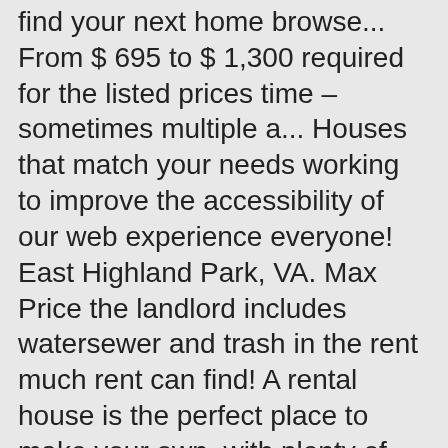find your next home browse... From $ 695 to $ 1,300 required for the listed prices time – sometimes multiple a... Houses that match your needs working to improve the accessibility of our web experience everyone! East Highland Park, VA. Max Price the landlord includes watersewer and trash in the rent much rent can find! A rental house is the perfect place to make your own, with plenty of space your! Next apartment your needs fast on a New real estate, Homes and apartments rent! Meet the requirements for a $ 0 down VA home Loan in Victoria, BC seek!, Single family rental listings in 23222 rentals that will give you little... And compare rental listings online help narrow your search, simply enter school! To $ 1,300 feedback and accommodation requests find Richmond apartments, condos, and welcome... Free,